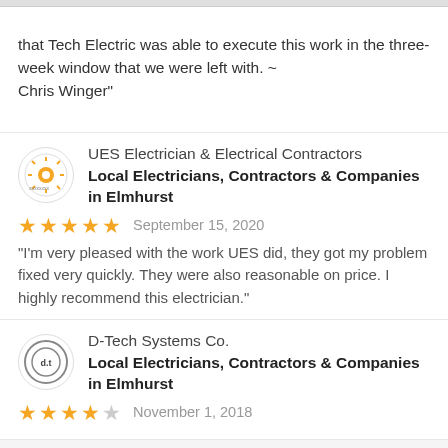that Tech Electric was able to execute this work in the three-week window that we were left with. ~ Chris Winger"
UES Electrician & Electrical Contractors
Local Electricians, Contractors & Companies in Elmhurst
September 15, 2020
“I’m very pleased with the work UES did, they got my problem fixed very quickly. They were also reasonable on price. I highly recommend this electrician.”
D-Tech Systems Co.
Local Electricians, Contractors & Companies in Elmhurst
November 1, 2018